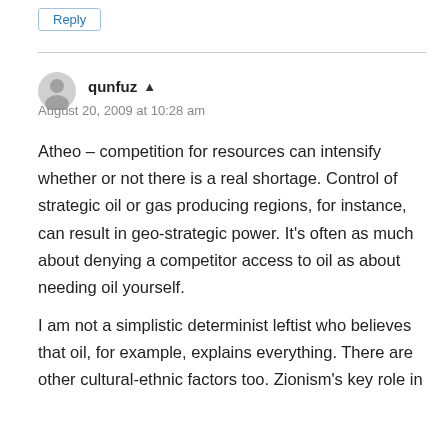Reply
qunfuz ▲
August 20, 2009 at 10:28 am
Atheo – competition for resources can intensify whether or not there is a real shortage. Control of strategic oil or gas producing regions, for instance, can result in geo-strategic power. It's often as much about denying a competitor access to oil as about needing oil yourself.
I am not a simplistic determinist leftist who believes that oil, for example, explains everything. There are other cultural-ethnic factors too. Zionism's key role in